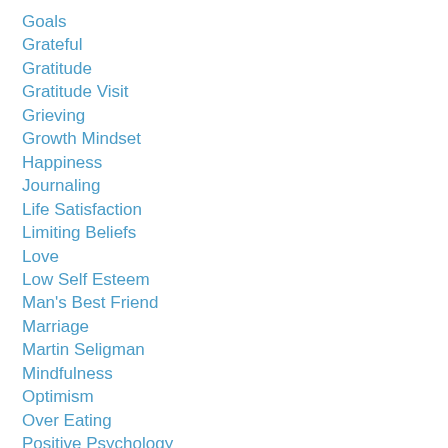Goals
Grateful
Gratitude
Gratitude Visit
Grieving
Growth Mindset
Happiness
Journaling
Life Satisfaction
Limiting Beliefs
Love
Low Self Esteem
Man's Best Friend
Marriage
Martin Seligman
Mindfulness
Optimism
Over Eating
Positive Psychology
Praise